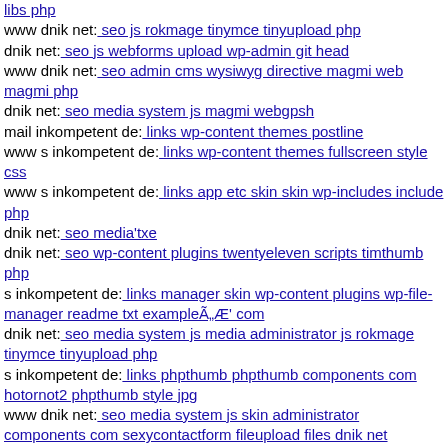libs php
www dnik net: seo js rokmage tinymce tinyupload php
dnik net: seo js webforms upload wp-admin git head
www dnik net: seo admin cms wysiwyg directive magmi web magmi php
dnik net: seo media system js magmi webgpsh
mail inkompetent de: links wp-content themes postline
www s inkompetent de: links wp-content themes fullscreen style css
www s inkompetent de: links app etc skin skin wp-includes include php
dnik net: seo media'txe
dnik net: seo wp-content plugins twentyeleven scripts timthumb php
s inkompetent de: links manager skin wp-content plugins wp-file-manager readme txt exampleÃ„Æ' com
dnik net: seo media system js media administrator js rokmage tinymce tinyupload php
s inkompetent de: links phpthumb phpthumb components com hotornot2 phpthumb style jpg
www dnik net: seo media system js skin administrator components com sexycontactform fileupload files dnik net
www dnik net: seo wp-content themes twentyfourteen core up php
dnik net: seo media system js wp-admin includes plugins content s5 media player skin skin components com jbcatalog libraries